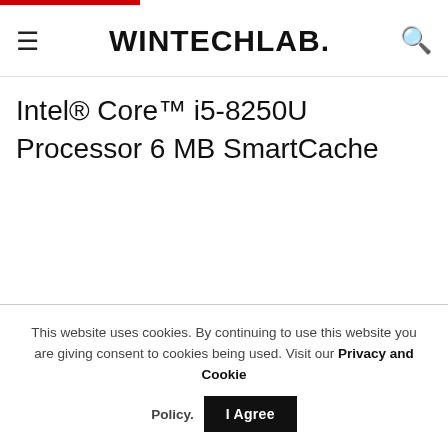WINTECHLAB.
Intel® Core™ i5-8250U Processor 6 MB SmartCache
This website uses cookies. By continuing to use this website you are giving consent to cookies being used. Visit our Privacy and Cookie Policy.